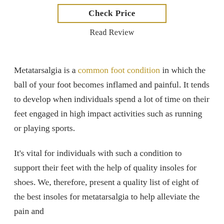Check Price
Read Review
Metatarsalgia is a common foot condition in which the ball of your foot becomes inflamed and painful. It tends to develop when individuals spend a lot of time on their feet engaged in high impact activities such as running or playing sports.
It's vital for individuals with such a condition to support their feet with the help of quality insoles for shoes. We, therefore, present a quality list of eight of the best insoles for metatarsalgia to help alleviate the pain and